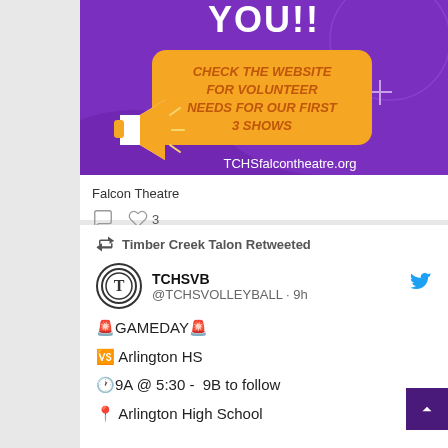[Figure (illustration): Purple banner with text YOU!! and a yellow speech bubble saying CHECK THE WEBSITE FOR VOLUNTEER NEEDS FOR OUR FIRST 3 SHOWS, with a megaphone illustration and TCHSfalcontheatre.org]
Falcon Theatre
♡ 3
Timber Creek Talon Retweeted
TCHSVB @TCHSVOLLEYBALL · 9h
🚨GAMEDAY🚨
🆚 Arlington HS
🕐9A @ 5:30 -  9B to follow
📍 Arlington High School